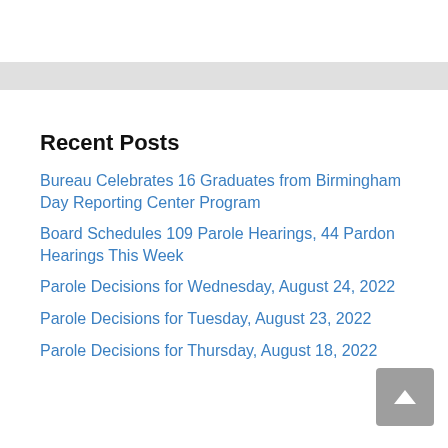Recent Posts
Bureau Celebrates 16 Graduates from Birmingham Day Reporting Center Program
Board Schedules 109 Parole Hearings, 44 Pardon Hearings This Week
Parole Decisions for Wednesday, August 24, 2022
Parole Decisions for Tuesday, August 23, 2022
Parole Decisions for Thursday, August 18, 2022